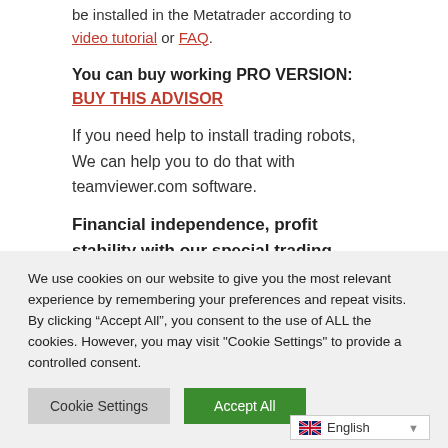be installed in the Metatrader according to video tutorial or FAQ.
You can buy working PRO VERSION: BUY THIS ADVISOR
If you need help to install trading robots, We can help you to do that with teamviewer.com software.
Financial independence, profit stability with our special trading advisors at Forex market.
We use cookies on our website to give you the most relevant experience by remembering your preferences and repeat visits. By clicking "Accept All", you consent to the use of ALL the cookies. However, you may visit "Cookie Settings" to provide a controlled consent.